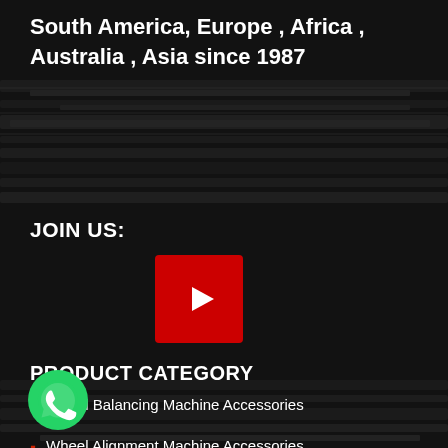South America, Europe , Africa , Australia , Asia since 1987
JOIN US:
[Figure (logo): YouTube play button icon — red rectangle with white play triangle]
PRODUCT CATEGORY
Wheel Balancing Machine Accessories
Wheel Alignment Machine Accessories
Tyre Changing Machine Accessories
Tyre Service Tools
[Figure (logo): WhatsApp green circle icon with phone handset symbol]